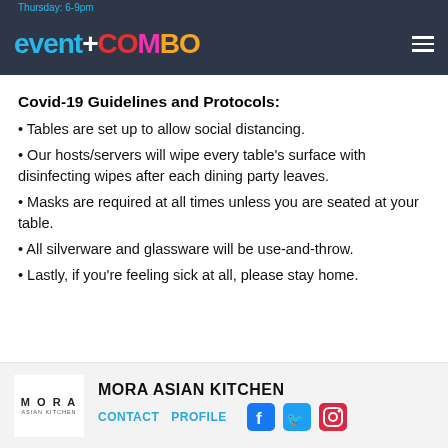Thursday: 6-9pm
[Figure (logo): Eventcombo logo on dark background with hamburger menu icon]
Covid-19 Guidelines and Protocols:
Tables are set up to allow social distancing.
Our hosts/servers will wipe every table's surface with disinfecting wipes after each dining party leaves.
Masks are required at all times unless you are seated at your table.
All silverware and glassware will be use-and-throw.
Lastly, if you're feeling sick at all, please stay home.
[Figure (logo): Mora Asian Kitchen logo with contact, profile links and social media icons]